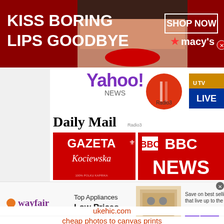[Figure (advertisement): Macy's advertisement banner with dark red background. Text reads 'KISS BORING LIPS GOODBYE' on left, woman's face with red lips in center, 'SHOP NOW' box and Macy's star logo on right.]
[Figure (logo): Collection of media outlet logos: Yahoo! News, Daily Mail, Radio 3, UTV Live, Gazeta Kociewska, BBC News]
Useful sites:
trustdeedscotland.net
ukehic.com
cheap photos to canvas prints
[Figure (advertisement): Wayfair advertisement. Wayfair logo on left, 'Top Appliances Low Prices' text, stove image in center, 'Save on best selling brands that live up to the hype' and purple 'Shop now' button on right.]